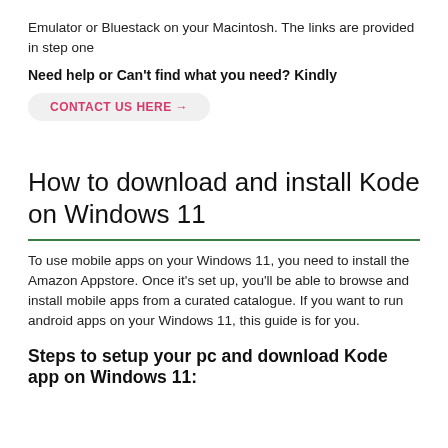Emulator or Bluestack on your Macintosh. The links are provided in step one
Need help or Can't find what you need? Kindly
CONTACT US HERE →
How to download and install Kode on Windows 11
To use mobile apps on your Windows 11, you need to install the Amazon Appstore. Once it's set up, you'll be able to browse and install mobile apps from a curated catalogue. If you want to run android apps on your Windows 11, this guide is for you.
Steps to setup your pc and download Kode app on Windows 11: